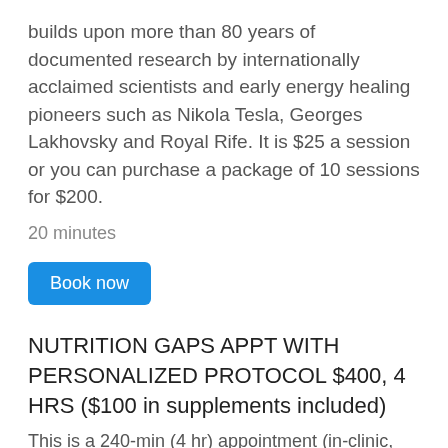builds upon more than 80 years of documented research by internationally acclaimed scientists and early energy healing pioneers such as Nikola Tesla, Georges Lakhovsky and Royal Rife. It is $25 a session or you can purchase a package of 10 sessions for $200.
20 minutes
Book now
NUTRITION GAPS APPT WITH PERSONALIZED PROTOCOL $400, 4 HRS ($100 in supplements included)
This is a 240-min (4 hr) appointment (in-clinic, phone, or Zoom) with a GAPS Certified Practitioner who will consult with you over your medical history, main ailments, symptom survey/toxicity questionnaire/paperwork/test